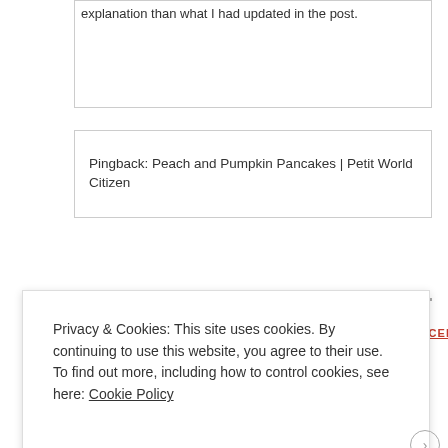explanation than what I had updated in the post.
Pingback: Peach and Pumpkin Pancakes | Petit World Citizen
LEAVE A REPLY TO JOSEPHINE CANCEL REPLY
Your email address will not be published. Required fields are
Privacy & Cookies: This site uses cookies. By continuing to use this website, you agree to their use.
To find out more, including how to control cookies, see here: Cookie Policy